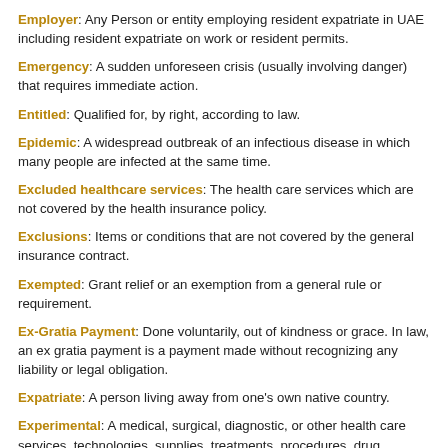Employer: Any Person or entity employing resident expatriate in UAE including resident expatriate on work or resident permits.
Emergency: A sudden unforeseen crisis (usually involving danger) that requires immediate action.
Entitled: Qualified for, by right, according to law.
Epidemic: A widespread outbreak of an infectious disease in which many people are infected at the same time.
Excluded healthcare services: The health care services which are not covered by the health insurance policy.
Exclusions: Items or conditions that are not covered by the general insurance contract.
Exempted: Grant relief or an exemption from a general rule or requirement.
Ex-Gratia Payment: Done voluntarily, out of kindness or grace. In law, an ex gratia payment is a payment made without recognizing any liability or legal obligation.
Expatriate: A person living away from one's own native country.
Experimental: A medical, surgical, diagnostic, or other health care services, technologies, supplies, treatments, procedures, drug therapies…